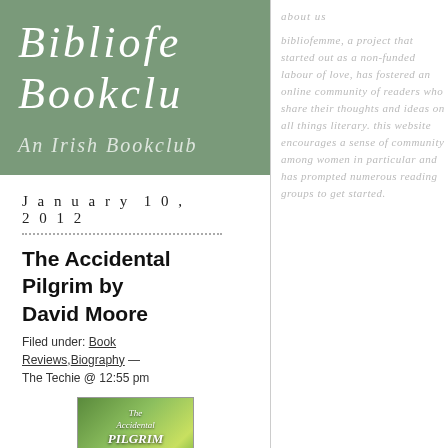Biofe Bookclub An Irish Bookclub
January 10, 2012
The Accidental Pilgrim by David Moore
Filed under: Book Reviews, Biography — The Techie @ 12:55 pm
[Figure (photo): Book cover of The Accidental Pilgrim by David Moore, green illustrated landscape cover]
Title: The
about us bibliofemme, a project that started out as a non-funded labour of love, has fostered an online community of readers who share their thoughts and ideas on all things literary. this website encourages a sense of community among women in particular and has prompted numerous reading groups to get started.